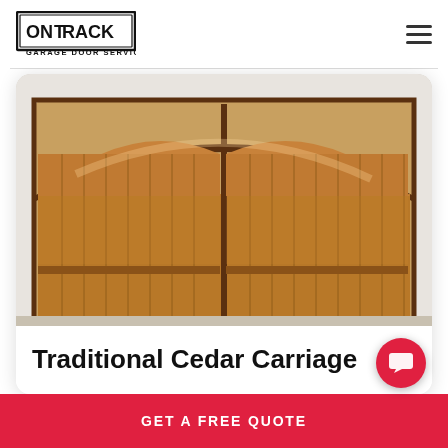On Track Garage Door Service
[Figure (photo): A traditional cedar carriage-style garage door with arched top panel, vertical planks, and rich warm brown stain, set in a white stucco wall]
Traditional Cedar Carriage
GET A FREE QUOTE